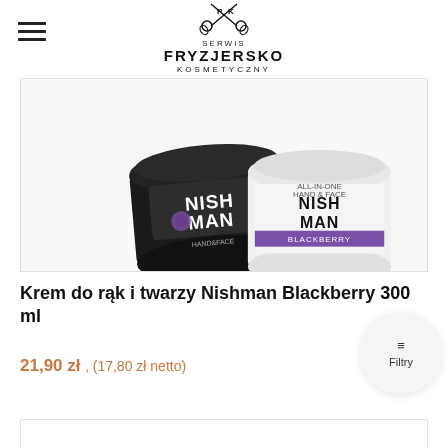[Figure (logo): Serwis Fryzjersko Kosmetyczny logo with scissors icon]
[Figure (photo): Nishman Hand & Face cream jars with blackberry design, dark containers on white background]
Krem do rąk i twarzy Nishman Blackberry 300 ml
21,90 zł , (17,80 zł netto)